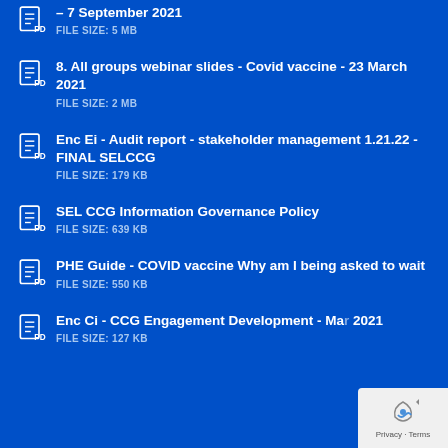– 7 September 2021
FILE SIZE: 5 MB
8. All groups webinar slides - Covid vaccine - 23 March 2021
FILE SIZE: 2 MB
Enc Ei - Audit report - stakeholder management 1.21.22 - FINAL SELCCG
FILE SIZE: 179 KB
SEL CCG Information Governance Policy
FILE SIZE: 639 KB
PHE Guide - COVID vaccine Why am I being asked to wait
FILE SIZE: 550 KB
Enc Ci - CCG Engagement Development - Ma… 2021
FILE SIZE: 127 KB